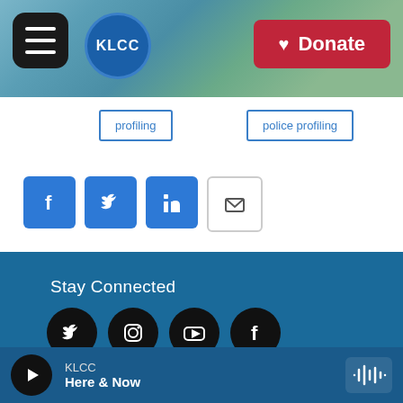[Figure (photo): KLCC radio station website header banner with aerial photo of Eugene Oregon hills and river, hamburger menu button, KLCC logo circle, and red Donate button]
profiling
police profiling
[Figure (infographic): Social share buttons: Facebook (blue), Twitter (blue), LinkedIn (blue), Email (white/outlined)]
Stay Connected
© 2022 KLCC
KLCC
KLCC
Here & Now